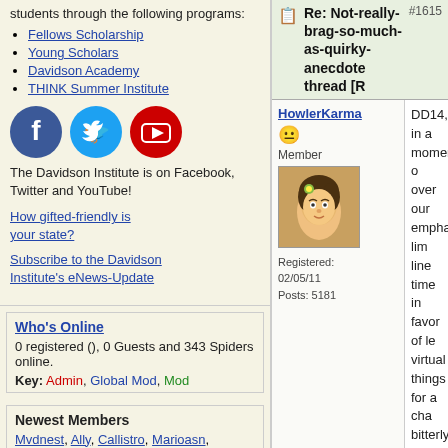students through the following programs:
Fellows Scholarship
Young Scholars
Davidson Academy
THINK Summer Institute
[Figure (logo): Facebook, Twitter, and YouTube social media icons]
The Davidson Institute is on Facebook, Twitter and YouTube!
How gifted-friendly is your state?
Subscribe to the Davidson Institute's eNews-Update
Who's Online
0 registered (), 0 Guests and 343 Spiders online.
Key: Admin, Global Mod, Mod
Newest Members
Mvdnest, Ally, Callistro, Marioasn,
Re: Not-really-brag-so-much-as-quirky-anecdote thread
#1615
HowlerKarma
Member
Registered: 02/05/11
Posts: 5181
DD14, in a moment of over our emphatic lim line time in favor of le virtual things for a cha bitterly to me yesterda quoting here, because at the sheer chutzpah
"shouldn't have to tak inappropriate respons [our] poor parenting c
and that if she were ju school next year (as o ready to graduate), sh be concerned about p working hard to earn free time. This snit be to let her spend the e Skype, but wanted he and an hour of obliga for a major competiti summer...
Because, sure... in ty thinking, the alternativ being 14 and a rising